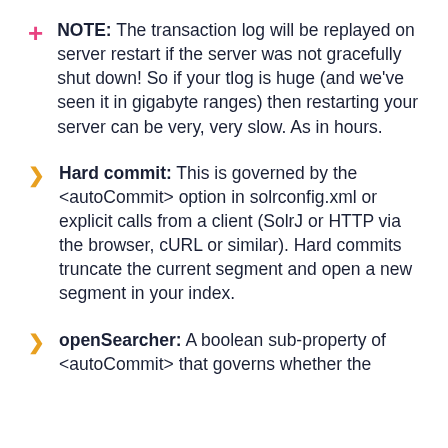NOTE: The transaction log will be replayed on server restart if the server was not gracefully shut down! So if your tlog is huge (and we've seen it in gigabyte ranges) then restarting your server can be very, very slow. As in hours.
Hard commit: This is governed by the <autoCommit> option in solrconfig.xml or explicit calls from a client (SolrJ or HTTP via the browser, cURL or similar). Hard commits truncate the current segment and open a new segment in your index.
openSearcher: A boolean sub-property of <autoCommit> that governs whether the